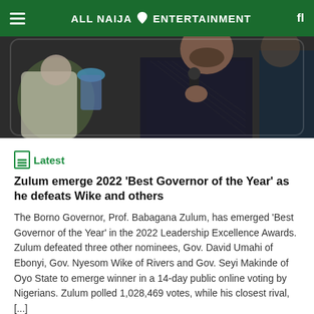ALL NAIJA ENTERTAINMENT
[Figure (photo): A man in a dark embroidered outfit holding a microphone, speaking at an event, with people in the background.]
Latest
Zulum emerge 2022 ‘Best Governor of the Year’ as he defeats Wike and others
The Borno Governor, Prof. Babagana Zulum, has emerged ‘Best Governor of the Year’ in the 2022 Leadership Excellence Awards. Zulum defeated three other nominees, Gov. David Umahi of Ebonyi, Gov. Nyesom Wike of Rivers and Gov. Seyi Makinde of Oyo State to emerge winner in a 14-day public online voting by Nigerians. Zulum polled 1,028,469 votes, while his closest rival, [...]
ANE · 10 min